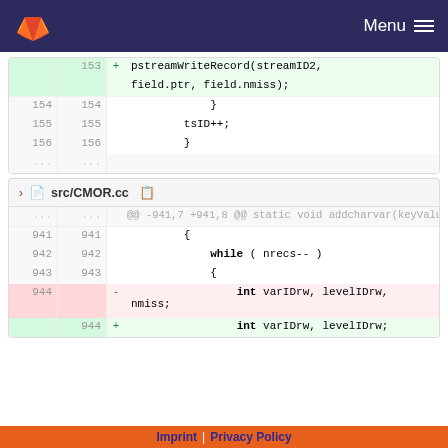GitLab — Menu
[Figure (screenshot): Code diff showing lines 153-156 with pstreamWriteRecord call, tsID++, and closing braces. Line 153 is an added line.]
src/CMOR.cc
[Figure (screenshot): Code diff for src/CMOR.cc showing hunk @@ -941,7 +941,8 @@, lines 941-944 with while loop, removed line 944 with int varIDrw, levelIDrw, nmiss; and added line 944 with int varIDrw, levelIDrw;]
Imprint | Privacy Policy